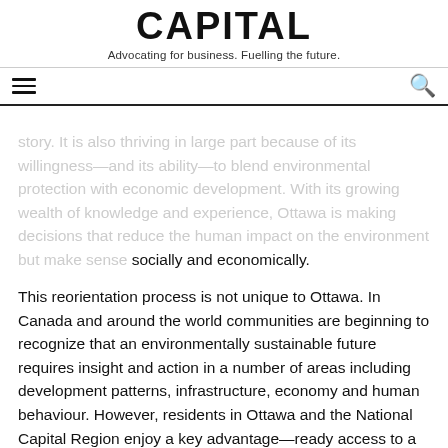CAPITAL
Advocating for business. Fuelling the future.
story. It is also thriving in large part because of its willingness—and its ability—to blend environmental protection with economic development. With its growing wealth of knowledge and experience, Ottawa is making decisions that reduce the human impact on the environment but make sense socially and economically.
This reorientation process is not unique to Ottawa. In Canada and around the world communities are beginning to recognize that an environmentally sustainable future requires insight and action in a number of areas including development patterns, infrastructure, economy and human behaviour. However, residents in Ottawa and the National Capital Region enjoy a key advantage—ready access to a web-based community knowledge centre. Operated by the Ottawa Community Foundation, Ottawa Insights collaborates with a broad range of community partners who collect data to support and empower evidence-based decisions and actions.
Ottawa Insights' reach is broad, covering areas such as health and well…